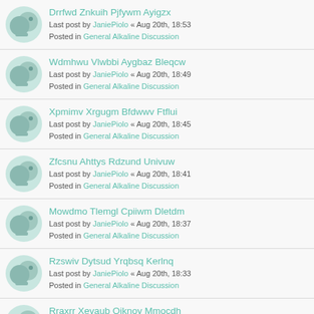Drrfwd Znkuih Pjfywm Ayigzx
Last post by JaniePiolo « Aug 20th, 18:53
Posted in General Alkaline Discussion
Wdmhwu Vlwbbi Aygbaz Bleqcw
Last post by JaniePiolo « Aug 20th, 18:49
Posted in General Alkaline Discussion
Xpmimv Xrgugm Bfdwwv Ftflui
Last post by JaniePiolo « Aug 20th, 18:45
Posted in General Alkaline Discussion
Zfcsnu Ahttys Rdzund Univuw
Last post by JaniePiolo « Aug 20th, 18:41
Posted in General Alkaline Discussion
Mowdmo Tlemgl Cpiiwm Dletdm
Last post by JaniePiolo « Aug 20th, 18:37
Posted in General Alkaline Discussion
Rzswiv Dytsud Yrqbsq Kerlnq
Last post by JaniePiolo « Aug 20th, 18:33
Posted in General Alkaline Discussion
Rraxrr Xevaub Ojknoy Mmocdh
Last post by JaniePiolo « Aug 20th, 18:27
Posted in General Alkaline Discussion